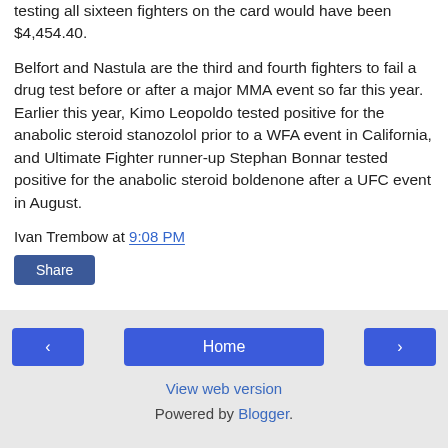testing all sixteen fighters on the card would have been $4,454.40.
Belfort and Nastula are the third and fourth fighters to fail a drug test before or after a major MMA event so far this year. Earlier this year, Kimo Leopoldo tested positive for the anabolic steroid stanozolol prior to a WFA event in California, and Ultimate Fighter runner-up Stephan Bonnar tested positive for the anabolic steroid boldenone after a UFC event in August.
Ivan Trembow at 9:08 PM
Share
◄  Home  ►  View web version  Powered by Blogger.